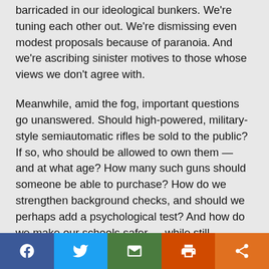barricaded in our ideological bunkers. We're tuning each other out. We're dismissing even modest proposals because of paranoia. And we're ascribing sinister motives to those whose views we don't agree with.
Meanwhile, amid the fog, important questions go unanswered. Should high-powered, military-style semiautomatic rifles be sold to the public? If so, who should be allowed to own them — and at what age? How many such guns should someone be able to purchase? How do we strengthen background checks, and should we perhaps add a psychological test? And how do we make our schools safer — while still preserving the Second Amendment?
Let's at least be clear what the gun debate is really about. Here's a hint: It's not hunting.
A few days after the Parkland shooting, radio host Rush
Share buttons: Facebook, Twitter, Email, Print, Share